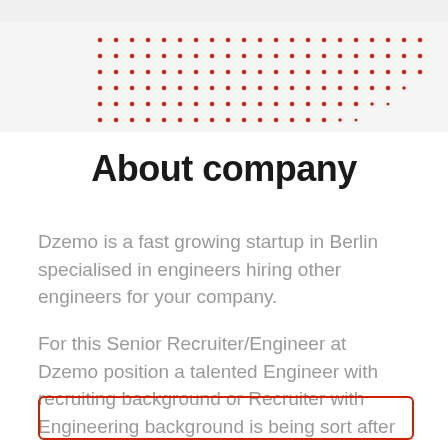[Figure (other): Red dot pattern decorative element on light grey background]
About company
Dzemo is a fast growing startup in Berlin specialised in engineers hiring other engineers for your company.
For this Senior Recruiter/Engineer at Dzemo position a talented Engineer with recruiting background or Recruiter with Engineering background is being sort after